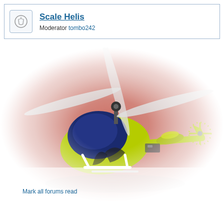Scale Helis
Moderator tombo242
[Figure (photo): RC scale helicopter with bright green/lime body and dark blue canopy, white landing skids, spinning rotors, photographed outdoors against a red brick wall. Photo has vignette/fade-to-white edges.]
Mark all forums read